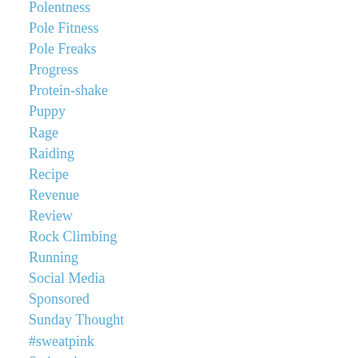Polentness
Pole Fitness
Pole Freaks
Progress
Protein-shake
Puppy
Rage
Raiding
Recipe
Revenue
Review
Rock Climbing
Running
Social Media
Sponsored
Sunday Thought
#sweatpink
Swimming
Trailwalker 2014
Training
#transformationtuesday